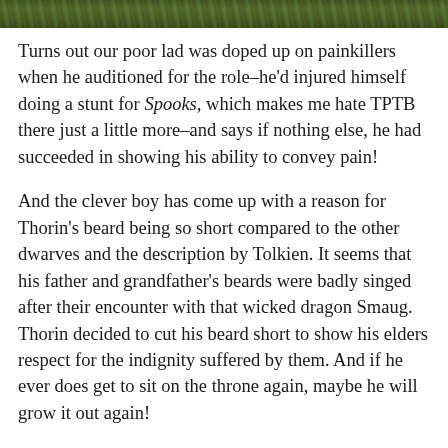[Figure (photo): A strip of a photo at the top of the page, showing foliage or vegetation in dark green tones.]
Turns out our poor lad was doped up on painkillers when he auditioned for the role–he'd injured himself doing a stunt for Spooks, which makes me hate TPTB there just a little more–and says if nothing else, he had succeeded in showing his ability to convey pain!
And the clever boy has come up with a reason for Thorin's beard being so short compared to the other dwarves and the description by Tolkien. It seems that his father and grandfather's beards were badly singed after their encounter with that wicked dragon Smaug. Thorin decided to cut his beard short to show his elders respect for the indignity suffered by them. And if he ever does get to sit on the throne again, maybe he will grow it out again!
And that's just a small portion of the good stuff you will find